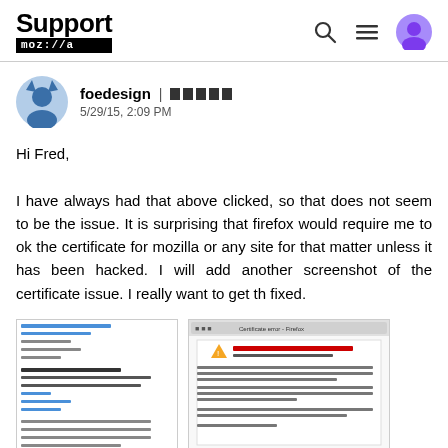Support mozilla
foedesign | ■■■■■
5/29/15, 2:09 PM
Hi Fred,

I have always had that above clicked, so that does not seem to be the issue. It is surprising that firefox would require me to ok the certificate for mozilla or any site for that matter unless it has been hacked. I will add another screenshot of the certificate issue. I really want to get th fixed.
[Figure (screenshot): Two screenshots attached: left shows a Mozilla Support Forum page, right shows a browser certificate warning dialog.]